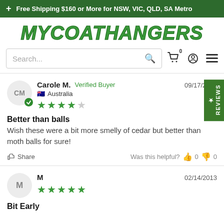+ Free Shipping $160 or More for NSW, VIC, QLD, SA Metro
MYCOATHANGERS
Search...
Carole M. Verified Buyer 09/17/2021 Australia ★★★★☆
Better than balls
Wish these were a bit more smelly of cedar but better than moth balls for sure!
Share Was this helpful? 👍 0 👎 0
M 02/14/2013 ★★★★★
Bit Early